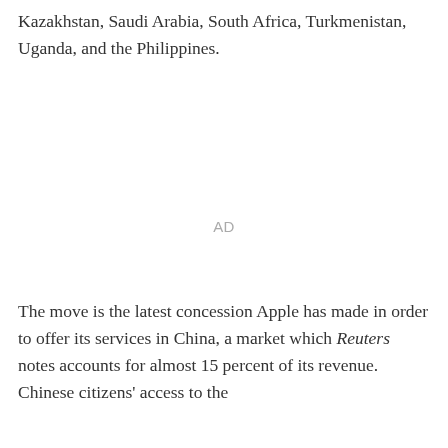Kazakhstan, Saudi Arabia, South Africa, Turkmenistan, Uganda, and the Philippines.
AD
The move is the latest concession Apple has made in order to offer its services in China, a market which Reuters notes accounts for almost 15 percent of its revenue. Chinese citizens' access to the